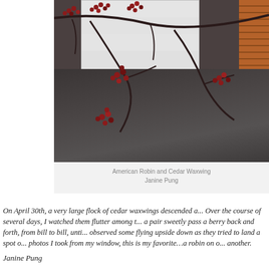[Figure (photo): Photo of berry-laden tree branches in foreground with a white garage door and brick pillar in the background, dark driveway below. Birds perched among the branches.]
American Robin and Cedar Waxwing
Janine Pung
On April 30th, a very large flock of cedar waxwings descended a... Over the course of several days, I watched them flutter among t... a pair sweetly pass a berry back and forth, from bill to bill, unti... observed some flying upside down as they tried to land a spot o... photos I took from my window, this is my favorite…a robin on o... another.
Janine Pung